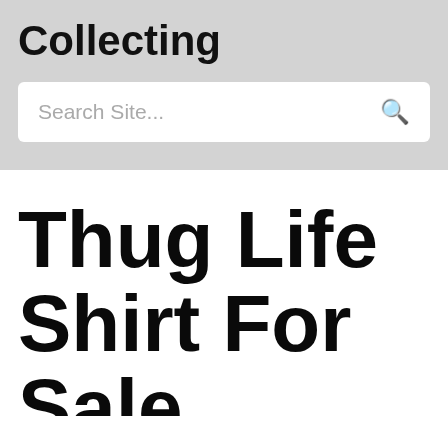Collecting
Search Site...
Thug Life Shirt For Sale